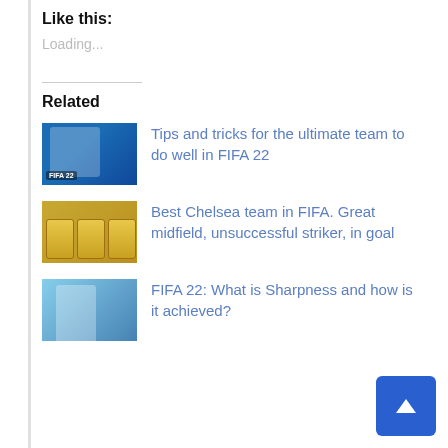Like this:
Loading...
Related
[Figure (photo): FIFA 22 game thumbnail showing a player and FIFA 22 logo]
Tips and tricks for the ultimate team to do well in FIFA 22
[Figure (photo): FIFA Ultimate Team player cards showing Chelsea players]
Best Chelsea team in FIFA. Great midfield, unsuccessful striker, in goal
[Figure (photo): FIFA 22 screenshot showing a player in blue jersey]
FIFA 22: What is Sharpness and how is it achieved?